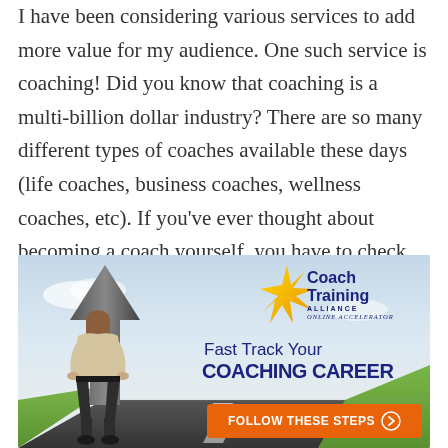I have been considering various services to add more value for my audience. One such service is coaching! Did you know that coaching is a multi-billion dollar industry? There are so many different types of coaches available these days (life coaches, business coaches, wellness coaches, etc). If you've ever thought about becoming a coach yourself, you have to check out Coach Training Accelerator.
[Figure (illustration): Advertisement banner for Coach Training Alliance Online Accelerator. Shows a woman from behind standing on a road with a large arrow pointing upward, logo with gold star, text 'Fast Track Your COACHING CAREER', and an orange 'FOLLOW THESE STEPS' button.]